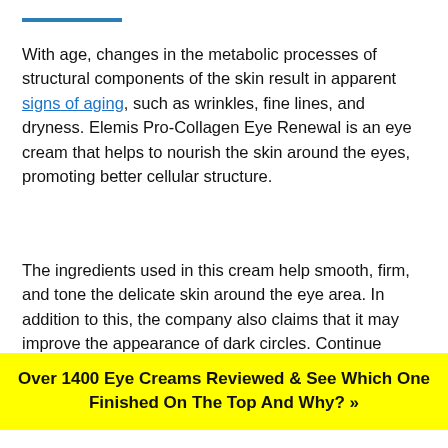With age, changes in the metabolic processes of structural components of the skin result in apparent signs of aging, such as wrinkles, fine lines, and dryness. Elemis Pro-Collagen Eye Renewal is an eye cream that helps to nourish the skin around the eyes, promoting better cellular structure.
The ingredients used in this cream help smooth, firm, and tone the delicate skin around the eye area. In addition to this, the company also claims that it may improve the appearance of dark circles. Continue reading to explore what Flemis Pro-
Over 1400 Eye Creams Reviewed & See Which One Finished On The Top And Why? »